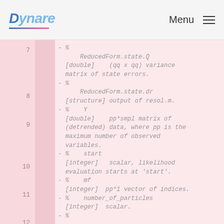Dynare   Menu
7  - %
       ReducedForm.state.Q
   [double]    (qq x qq) variance matrix of state errors.
8  - %
       ReducedForm.state.dr
   [structure] output of resol.m.
9  - %    Y
   [double]    pp*smpl matrix of (detrended) data, where pp is the maximum number of observed variables.
10 - %    start
   [integer]  scalar, likelihood evaluation starts at 'start'.
11 - %    mf
   [integer]  pp*1 vector of indices.
12 - %    number_of_particles
   [integer]  scalar.
13 - %